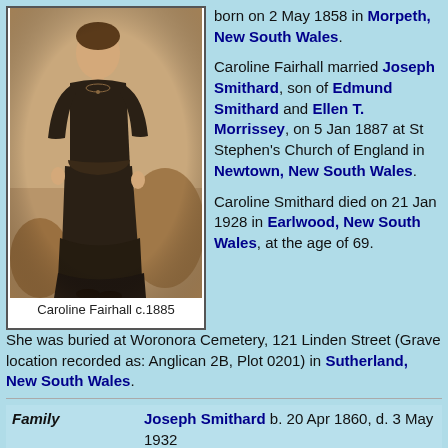[Figure (photo): Sepia-toned vintage photograph of Caroline Fairhall, a woman in Victorian dress, c.1885]
Caroline Fairhall c.1885
born on 2 May 1858 in Morpeth, New South Wales.
Caroline Fairhall married Joseph Smithard, son of Edmund Smithard and Ellen T. Morrissey, on 5 Jan 1887 at St Stephen's Church of England in Newtown, New South Wales.
Caroline Smithard died on 21 Jan 1928 in Earlwood, New South Wales, at the age of 69. She was buried at Woronora Cemetery, 121 Linden Street (Grave location recorded as: Anglican 2B, Plot 0201) in Sutherland, New South Wales.
|  |  |
| --- | --- |
| Family | Joseph Smithard b. 20 Apr 1860, d. 3 May 1932 |
| Children | ♂ Alfred Joseph Smithard+ b. 7 Jun |